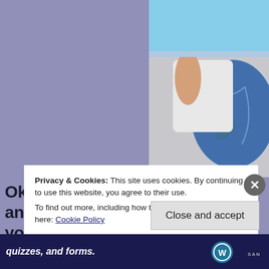[Figure (photo): Person holding a globe against a blue sky background, cropped to show torso and arms]
Okay, I know you love your son and daug you think and in the future they will be ac beautiful world? Do you know what is ha Do you want your children and grandchi in a beautiful and healthy world? Then gi things. Make the right choice for them an
Privacy & Cookies: This site uses cookies. By continuing to use this website, you agree to their use.
To find out more, including how to control cookies, see here: Cookie Policy
Close and accept
quizzes, and forms.